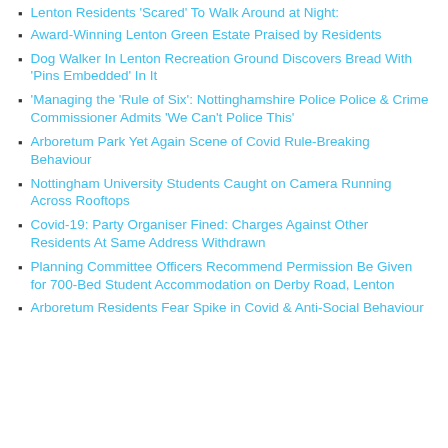Lenton Residents 'Scared' To Walk Around at Night:
Award-Winning Lenton Green Estate Praised by Residents
Dog Walker In Lenton Recreation Ground Discovers Bread With 'Pins Embedded' In It
'Managing the 'Rule of Six': Nottinghamshire Police Police & Crime Commissioner Admits 'We Can't Police This'
Arboretum Park Yet Again Scene of Covid Rule-Breaking Behaviour
Nottingham University Students Caught on Camera Running Across Rooftops
Covid-19: Party Organiser Fined: Charges Against Other Residents At Same Address Withdrawn
Planning Committee Officers Recommend Permission Be Given for 700-Bed Student Accommodation on Derby Road, Lenton
Arboretum Residents Fear Spike in Covid & Anti-Social Behaviour